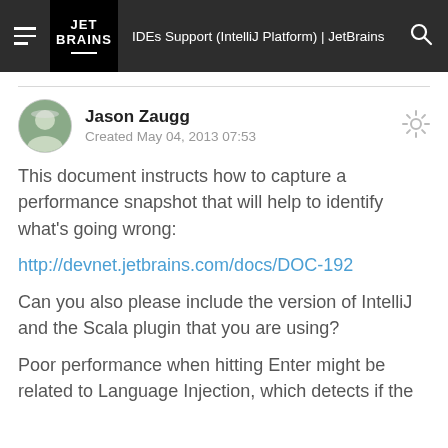IDEs Support (IntelliJ Platform) | JetBrains
Jason Zaugg
Created May 04, 2013 07:53
This document instructs how to capture a performance snapshot that will help to identify what's going wrong:
http://devnet.jetbrains.com/docs/DOC-192
Can you also please include the version of IntelliJ and the Scala plugin that you are using?
Poor performance when hitting Enter might be related to Language Injection, which detects if the